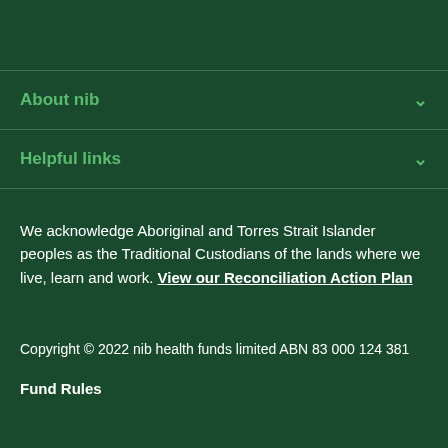About nib
Helpful links
We acknowledge Aboriginal and Torres Strait Islander peoples as the Traditional Custodians of the lands where we live, learn and work. View our Reconciliation Action Plan
Copyright © 2022 nib health funds limited ABN 83 000 124 381
Fund Rules